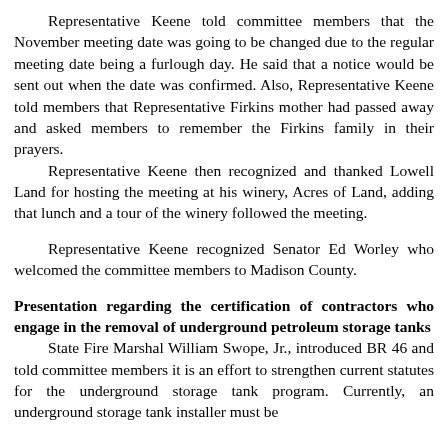Representative Keene told committee members that the November meeting date was going to be changed due to the regular meeting date being a furlough day. He said that a notice would be sent out when the date was confirmed. Also, Representative Keene told members that Representative Firkins mother had passed away and asked members to remember the Firkins family in their prayers.
Representative Keene then recognized and thanked Lowell Land for hosting the meeting at his winery, Acres of Land, adding that lunch and a tour of the winery followed the meeting.
Representative Keene recognized Senator Ed Worley who welcomed the committee members to Madison County.
Presentation regarding the certification of contractors who engage in the removal of underground petroleum storage tanks
State Fire Marshal William Swope, Jr., introduced BR 46 and told committee members it is an effort to strengthen current statutes for the underground storage tank program. Currently, an underground storage tank installer must be